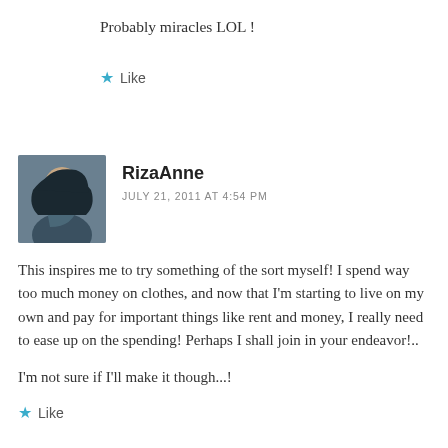Probably miracles LOL !
Like
RizaAnne
JULY 21, 2011 AT 4:54 PM
This inspires me to try something of the sort myself! I spend way too much money on clothes, and now that I'm starting to live on my own and pay for important things like rent and money, I really need to ease up on the spending! Perhaps I shall join in your endeavor!..
I'm not sure if I'll make it though...!
Like